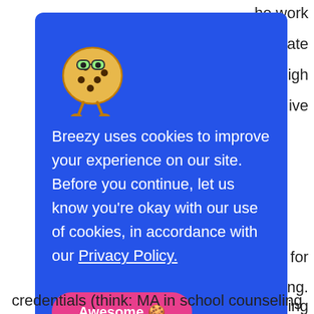he work ndidate and high ive dents for ing. ounseling
[Figure (illustration): Cookie mascot character: a round yellow cookie with chocolate chips, wearing round green glasses and having two stick legs, cartoon style]
Breezy uses cookies to improve your experience on our site. Before you continue, let us know you're okay with our use of cookies, in accordance with our Privacy Policy.
Awesome 🍪
credentials (think: MA in school counseling